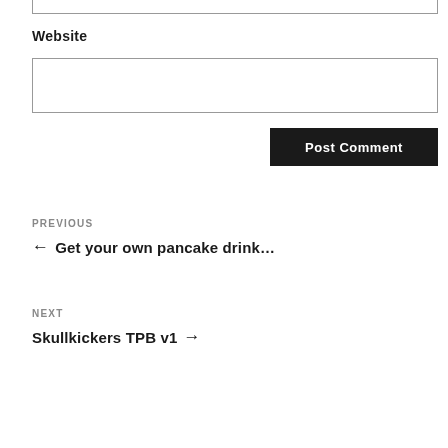Website
Post Comment
PREVIOUS
← Get your own pancake drink…
NEXT
Skullkickers TPB v1 →